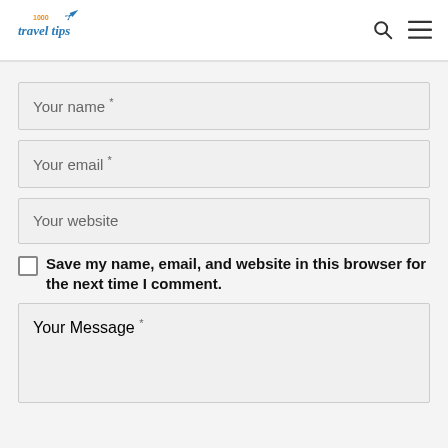1000 Travel Tips
Your name *
Your email *
Your website
Save my name, email, and website in this browser for the next time I comment.
Your Message *